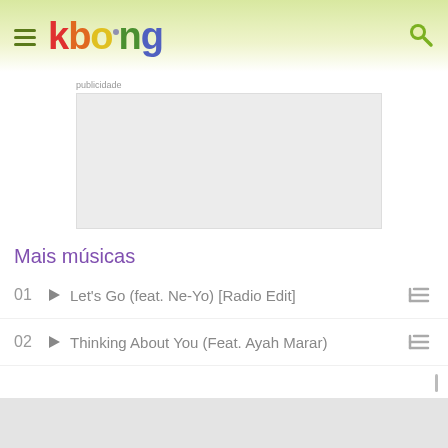kboing
[Figure (screenshot): Advertisement placeholder box labeled 'publicidade']
Mais músicas
01 ▶ Let's Go (feat. Ne-Yo) [Radio Edit]
02 ▶ Thinking About You (Feat. Ayah Marar)